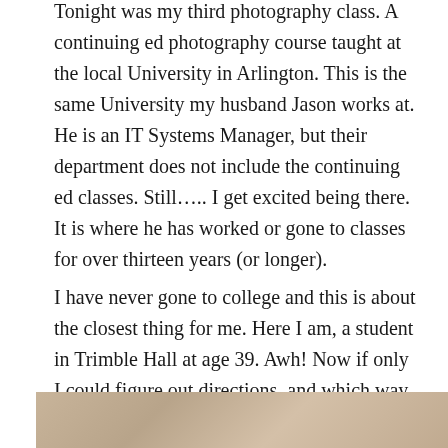Tonight was my third photography class. A continuing ed photography course taught at the local University in Arlington. This is the same University my husband Jason works at. He is an IT Systems Manager, but their department does not include the continuing ed classes. Still….. I get excited being there. It is where he has worked or gone to classes for over thirteen years (or longer).
I have never gone to college and this is about the closest thing for me. Here I am, a student in Trimble Hall at age 39. Awh! Now if only I could figure out directions, and which way is which, to and from class to the parking lot. I get turned around – every time. Pitiful, I know!
[Figure (photo): Partial photo strip visible at the bottom of the page, showing a tan/brown toned image, likely a photograph from the photography class or related subject.]